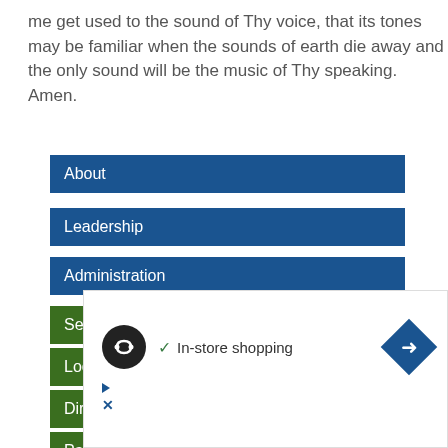me get used to the sound of Thy voice, that its tones may be familiar when the sounds of earth die away and the only sound will be the music of Thy speaking. Amen.
About
Leadership
Administration
Service Times
Location
Directions
Parking
Sunday School
[Figure (screenshot): Advertisement overlay showing a circular black icon with infinity-like symbol, a checkmark and 'In-store shopping' text, and a blue diamond direction icon, with play and close controls below.]